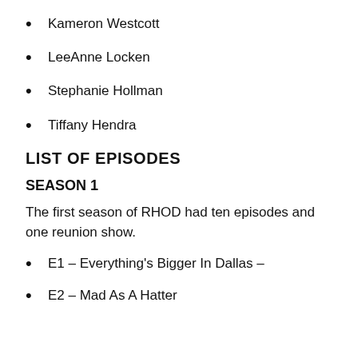Kameron Westcott
LeeAnne Locken
Stephanie Hollman
Tiffany Hendra
LIST OF EPISODES
SEASON 1
The first season of RHOD had ten episodes and one reunion show.
E1 – Everything's Bigger In Dallas –
E2 – Mad As A Hatter